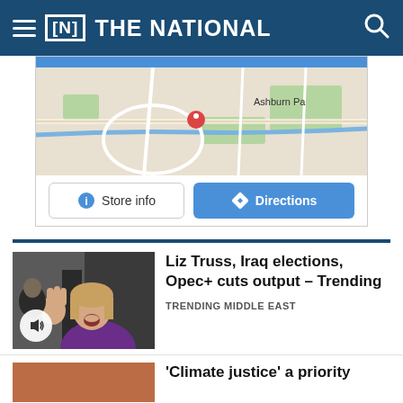[N] THE NATIONAL
[Figure (map): Google Maps partial screenshot showing a location pin labeled Ashburn Pa, with Store info and Directions buttons below]
[Figure (photo): Photo of Liz Truss smiling and waving, wearing a purple jacket, with a sound/audio icon overlay]
Liz Truss, Iraq elections, Opec+ cuts output – Trending
TRENDING MIDDLE EAST
'Climate justice' a priority